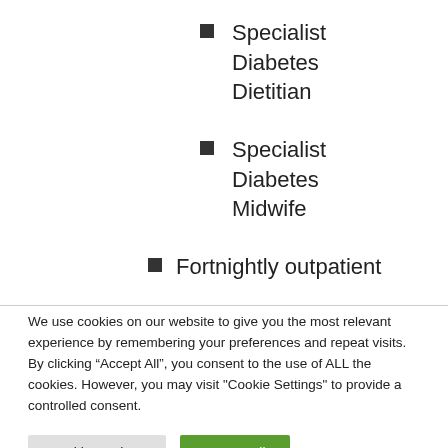Specialist Diabetes Dietitian
Specialist Diabetes Midwife
Fortnightly outpatient
We use cookies on our website to give you the most relevant experience by remembering your preferences and repeat visits. By clicking “Accept All”, you consent to the use of ALL the cookies. However, you may visit "Cookie Settings" to provide a controlled consent.